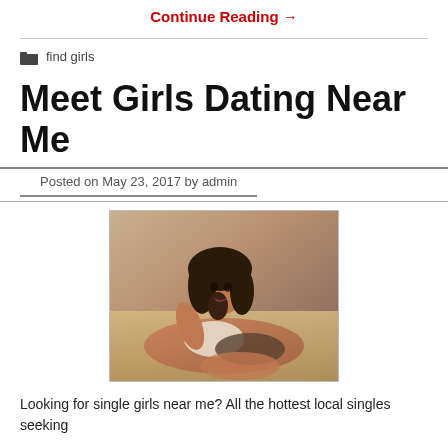Continue Reading →
find girls
Meet Girls Dating Near Me
Posted on May 23, 2017 by admin
[Figure (photo): A young woman with long dark wavy hair lying on sandy ground, looking at the camera, wearing a light top and dark clothing.]
Looking for single girls near me? All the hottest local singles seeking…